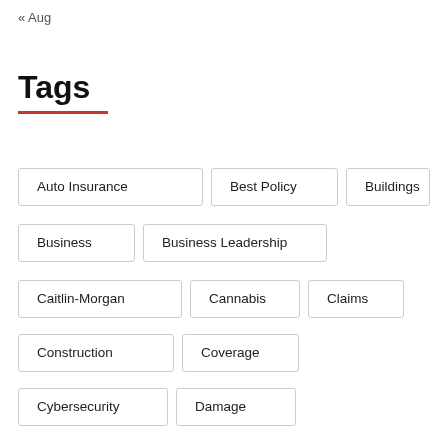« Aug
Tags
Auto Insurance
Best Policy
Buildings
Business
Business Leadership
Caitlin-Morgan
Cannabis
Claims
Construction
Coverage
Cybersecurity
Damage
David Sayles Insurance